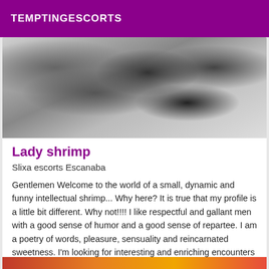TEMPTINGESCORTS
[Figure (photo): Black and white photo of a woman in lingerie lying down, partially obscured]
Lady shrimp
Slixa escorts Escanaba
Gentlemen Welcome to the world of a small, dynamic and funny intellectual shrimp... Why here? It is true that my profile is a little bit different. Why not!!!! I like respectful and gallant men with a good sense of humor and a good sense of repartee. I am a poetry of words, pleasure, sensuality and reincarnated sweetness. I'm looking for interesting and enriching encounters where the idea is not only to put yourself in a lateral position and to spread your legs.
[Figure (photo): Partial color photo visible at bottom of page]